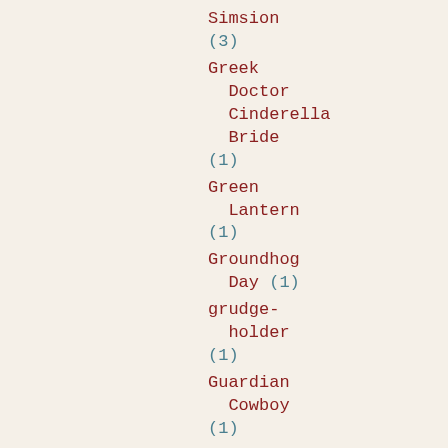Simsion (3)
Greek Doctor Cinderella Bride (1)
Green Lantern (1)
Groundhog Day (1)
grudge-holder (1)
Guardian Cowboy (1)